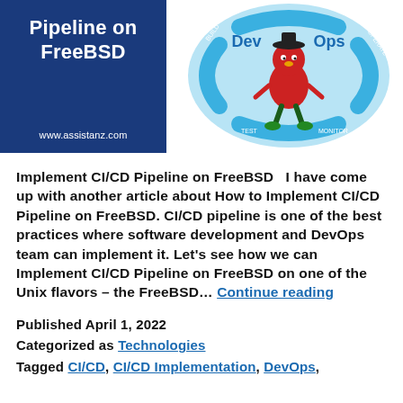[Figure (illustration): Blue box with white bold text 'Pipeline on FreeBSD' and URL 'www.assistanz.com', alongside a DevOps circular diagram with Dev and Ops labels, build/test/monitor arrows, and a cartoon character in the center.]
Implement CI/CD Pipeline on FreeBSD   I have come up with another article about How to Implement CI/CD Pipeline on FreeBSD. CI/CD pipeline is one of the best practices where software development and DevOps team can implement it. Let's see how we can Implement CI/CD Pipeline on FreeBSD on one of the Unix flavors – the FreeBSD… Continue reading
Published April 1, 2022
Categorized as Technologies
Tagged CI/CD, CI/CD Implementation, DevOps,